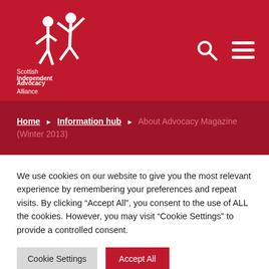[Figure (logo): Scottish Independent Advocacy Alliance logo with two figure silhouettes in white on dark red background, with text: Scottish Independent Advocacy Alliance]
Home ▶ Information hub ▶ About Advocacy Magazine (Winter 2013)
We use cookies on our website to give you the most relevant experience by remembering your preferences and repeat visits. By clicking “Accept All”, you consent to the use of ALL the cookies. However, you may visit “Cookie Settings” to provide a controlled consent.
Cookie Settings | Accept All